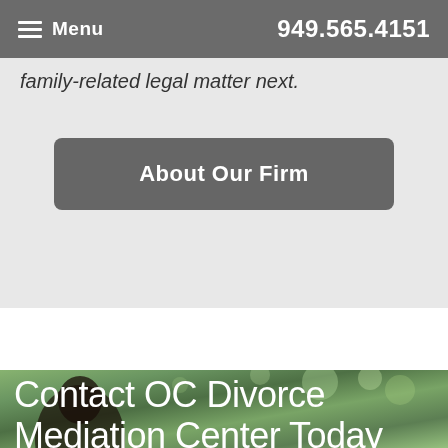Menu  949.565.4151
family-related legal matter next.
About Our Firm
[Figure (photo): Blurred outdoor photo with greenery and a person in the background, used as background for contact section]
Contact OC Divorce Mediation Center Today